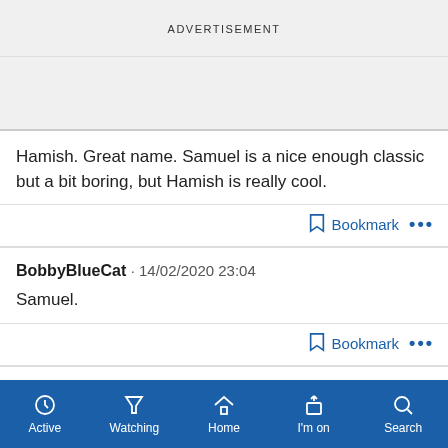ADVERTISEMENT
Hamish. Great name. Samuel is a nice enough classic but a bit boring, but Hamish is really cool.
BobbyBlueCat · 14/02/2020 23:04
Samuel.
Whatsyourflava · 14/02/2020 23:05
I really love Samuel
Active   Watching   Home   I'm on   Search